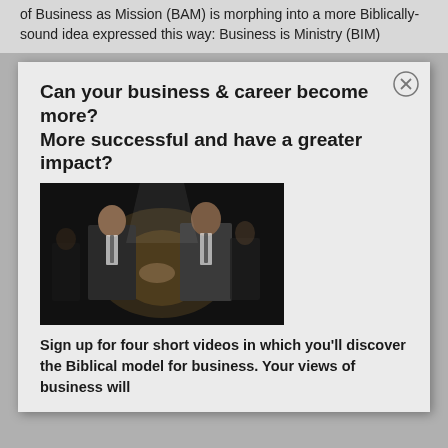of Business as Mission (BAM) is morphing into a more Biblically-sound idea expressed this way: Business is Ministry (BIM)
Can your business & career become more? More successful and have a greater impact?
[Figure (photo): Two men in suits shaking hands on a stage with dark background and spotlight]
Sign up for four short videos in which you'll discover the Biblical model for business. Your views of business will